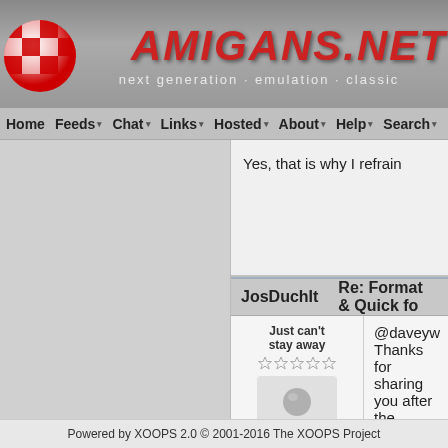[Figure (screenshot): Amigans.net website header with red checkerboard logo ball and red stylized AMIGANS.NET text, subtitle: next generation · emulation · classic]
Home  Feeds  Chat  Links  Hosted  About  Help  Search
Yes, that is why I refrain
JosDuchIt   Re: Format & Quick fo
Just can't stay away
@daveyw
Thanks for sharing you after the jumper
Powered by XOOPS 2.0 © 2001-2016 The XOOPS Project